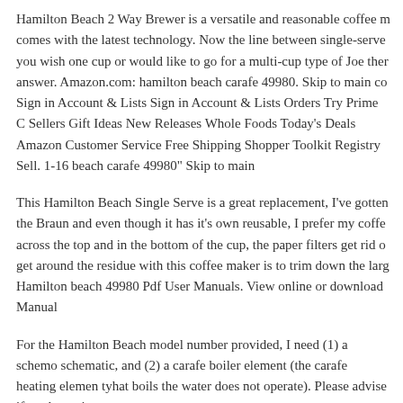Hamilton Beach 2 Way Brewer is a versatile and reasonable coffee m... comes with the latest technology. Now the line between single-serve ... you wish one cup or would like to go for a multi-cup type of Joe the... answer. Amazon.com: hamilton beach carafe 49980. Skip to main co... Sign in Account & Lists Sign in Account & Lists Orders Try Prime C... Sellers Gift Ideas New Releases Whole Foods Today's Deals Amazo... Customer Service Free Shipping Shopper Toolkit Registry Sell. 1-16 ... beach carafe 49980" Skip to main
This Hamilton Beach Single Serve is a great replacement, I've gotten... the Braun and even though it has it's own reusable, I prefer my coffe... across the top and in the bottom of the cup, the paper filters get rid o... get around the residue with this coffee maker is to trim down the larg... Hamilton beach 49980 Pdf User Manuals. View online or download ... Manual
For the Hamilton Beach model number provided, I need (1) a schem... schematic, and (2) a carafe boiler element (the carafe heating elemen... tyhat boils the water does not operate). Please advise if a schematic a...